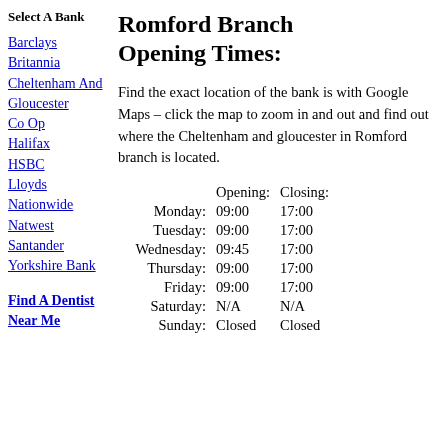Select A Bank
Barclays
Britannia
Cheltenham And Gloucester
Co Op
Halifax
HSBC
Lloyds
Nationwide
Natwest
Santander
Yorkshire Bank
Find A Dentist Near Me
Romford Branch Opening Times:
Find the exact location of the bank is with Google Maps – click the map to zoom in and out and find out where the Cheltenham and gloucester in Romford branch is located.
|  | Opening: | Closing: |
| --- | --- | --- |
| Monday: | 09:00 | 17:00 |
| Tuesday: | 09:00 | 17:00 |
| Wednesday: | 09:45 | 17:00 |
| Thursday: | 09:00 | 17:00 |
| Friday: | 09:00 | 17:00 |
| Saturday: | N/A | N/A |
| Sunday: | Closed | Closed |